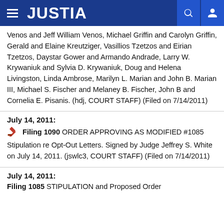JUSTIA
Venos and Jeff William Venos, Michael Griffin and Carolyn Griffin, Gerald and Elaine Kreutziger, Vasillios Tzetzos and Eirian Tzetzos, Daystar Gower and Armando Andrade, Larry W. Krywaniuk and Sylvia D. Krywaniuk, Doug and Helena Livingston, Linda Ambrose, Marilyn L. Marian and John B. Marian III, Michael S. Fischer and Melaney B. Fischer, John B and Cornelia E. Pisanis. (hdj, COURT STAFF) (Filed on 7/14/2011)
July 14, 2011: Filing 1090 ORDER APPROVING AS MODIFIED #1085 Stipulation re Opt-Out Letters. Signed by Judge Jeffrey S. White on July 14, 2011. (jswlc3, COURT STAFF) (Filed on 7/14/2011)
July 14, 2011: Filing 1085 STIPULATION and Proposed Order